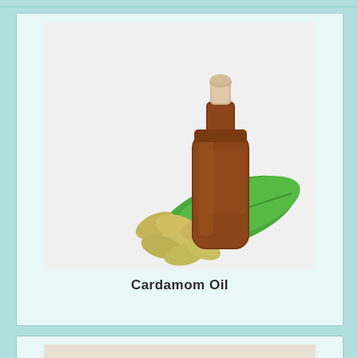[Figure (photo): A amber/brown glass essential oil bottle with a cork stopper, surrounded by green cardamom pods and a large green leaf, on a white background.]
Cardamom Oil
[Figure (photo): Partial view of cinnamon sticks, rosemary/pine sprigs, and a small glass bottle, on a light background — bottom portion of the page cut off.]